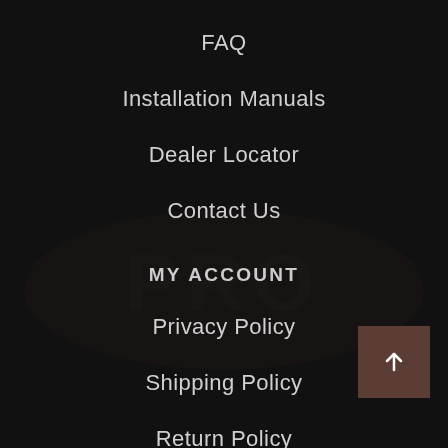FAQ
Installation Manuals
Dealer Locator
Contact Us
MY ACCOUNT
Privacy Policy
Shipping Policy
Return Policy
Terms & Conditions